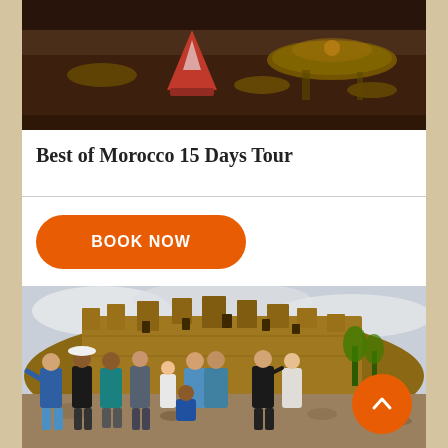[Figure (photo): Photo of Moroccan food spread on a low table with tajine dishes and various plates of food]
Best of Morocco 15 Days Tour
[Figure (other): Orange rounded rectangle button with white bold text reading BOOK NOW]
[Figure (photo): Group photo of tourists posing in front of an ancient Moroccan kasbah (Ait Benhaddou) on a rocky terrain under cloudy sky]